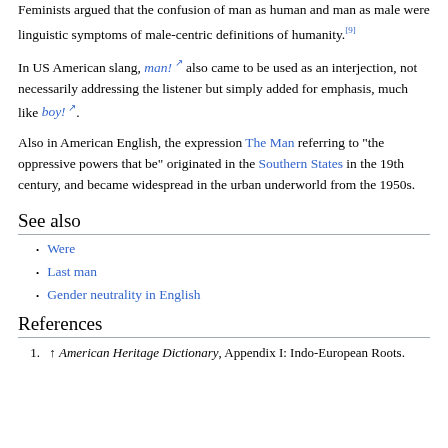Feminists argued that the confusion of man as human and man as male were linguistic symptoms of male-centric definitions of humanity.[9]
In US American slang, man! also came to be used as an interjection, not necessarily addressing the listener but simply added for emphasis, much like boy!.
Also in American English, the expression The Man referring to "the oppressive powers that be" originated in the Southern States in the 19th century, and became widespread in the urban underworld from the 1950s.
See also
Were
Last man
Gender neutrality in English
References
1. ↑ American Heritage Dictionary, Appendix I: Indo-European Roots.